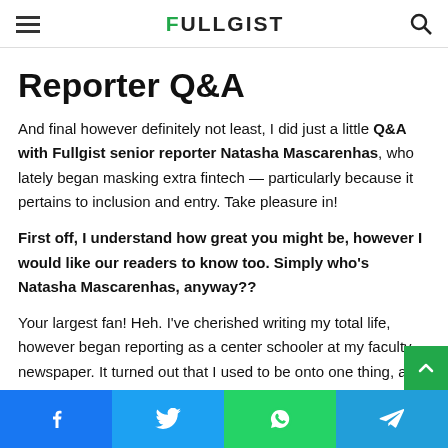≡  FULLGIST  🔍
Reporter Q&A
And final however definitely not least, I did just a little Q&A with Fullgist senior reporter Natasha Mascarenhas, who lately began masking extra fintech — particularly because it pertains to inclusion and entry. Take pleasure in!
First off, I understand how great you might be, however I would like our readers to know too. Simply who's Natasha Mascarenhas, anyway??
Your largest fan! Heh. I've cherished writing my total life, however began reporting as a center schooler at my faculty newspaper. It turned out that I used to be onto one thing, as I